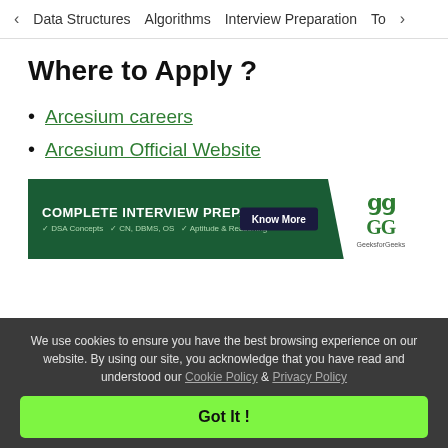< Data Structures   Algorithms   Interview Preparation   To>
Where to Apply ?
Arcesium careers
Arcesium Official Website
[Figure (infographic): GeeksforGeeks ad banner: COMPLETE INTERVIEW PREPARATION - DSA Concepts, CN, DBMS, OS, Aptitude & Reasoning. Know More button. GeeksforGeeks logo on the right.]
We use cookies to ensure you have the best browsing experience on our website. By using our site, you acknowledge that you have read and understood our Cookie Policy & Privacy Policy
Got It !